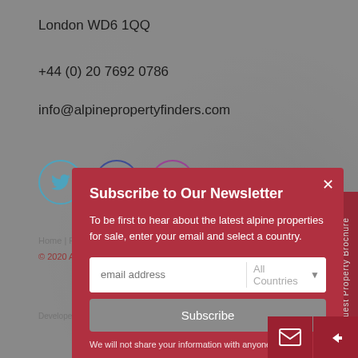London WD6 1QQ
+44 (0) 20 7692 0786
info@alpinepropertyfinders.com
[Figure (infographic): Social media icons: Twitter, Facebook, Instagram circles]
Home | Privacy Policy | Disclaimer
© 2020 Alpine Homes Ltd. All rights reserved.
Developed by ...
[Figure (screenshot): Newsletter subscription modal overlay with red background. Title: Subscribe to Our Newsletter. Body text: To be first to hear about the latest alpine properties for sale, enter your email and select a country. Email input field, All Countries dropdown, Subscribe button, note: We will not share your information with anyone.]